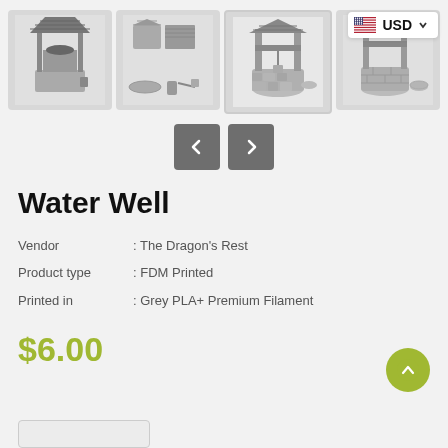[Figure (photo): Four product photos of a 3D printed Water Well miniature showing different views and components, grey PLA material]
Water Well
Vendor : The Dragon's Rest
Product type : FDM Printed
Printed in : Grey PLA+ Premium Filament
$6.00